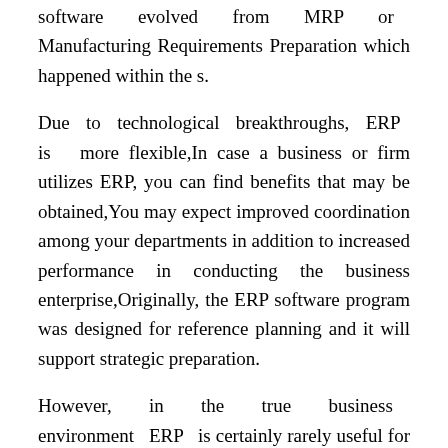software evolved from MRP or Manufacturing Requirements Preparation which happened within the s.
Due to technological breakthroughs, ERP is more flexible,In case a business or firm utilizes ERP, you can find benefits that may be obtained,You may expect improved coordination among your departments in addition to increased performance in conducting the business enterprise,Originally, the ERP software program was designed for reference planning and it will support strategic preparation.
However, in the true business environment ERP is certainly rarely useful for resource preparing due to inadequate integration of ERP with DSS or Decision Support Systems.Like any other software program system, ERP also offers its talk about of failures,There